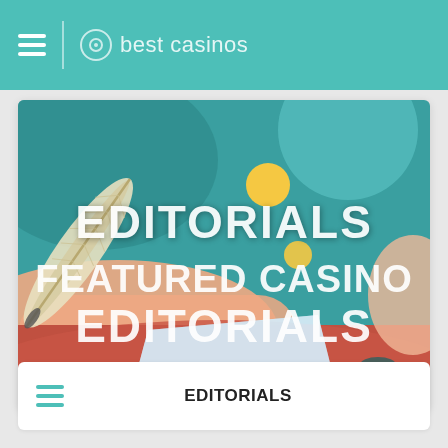best casinos
[Figure (illustration): Illustrated banner showing a hand holding a quill pen writing on paper, with decorative shapes in teal, coral/red, yellow, and peach tones. White text overlay reads 'EDITORIALS FEATURED CASINO EDITORIALS'.]
EDITORIALS